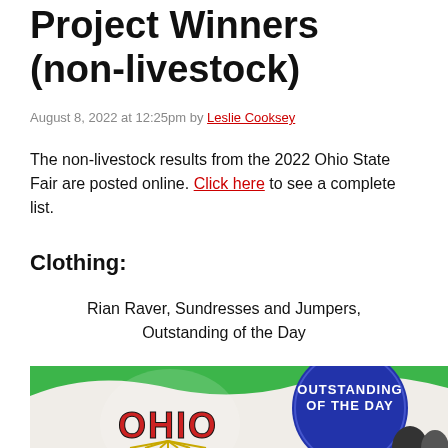Project Winners (non-livestock)
August 8, 2022 at 12:25pm by Leslie Cooksey
The non-livestock results from the 2022 Ohio State Fair are posted online. Click here to see a complete list.
Clothing:
Rian Raver, Sundresses and Jumpers, Outstanding of the Day
[Figure (photo): Ohio State Fair Outstanding of the Day award image with OHIO logo and blue circle with text OUTSTANDING OF THE DAY, with people in background]